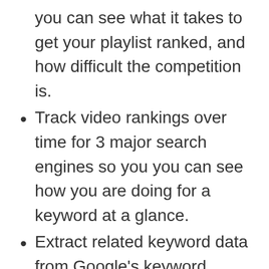you can see what it takes to get your playlist ranked, and how difficult the competition is.
Track video rankings over time for 3 major search engines so you you can see how you are doing for a keyword at a glance.
Extract related keyword data from Google’s keyword planner and let’s you mine ranking videos as well as ad money being spent in the niche and competition… so you can pick out the keywords with the best potential for